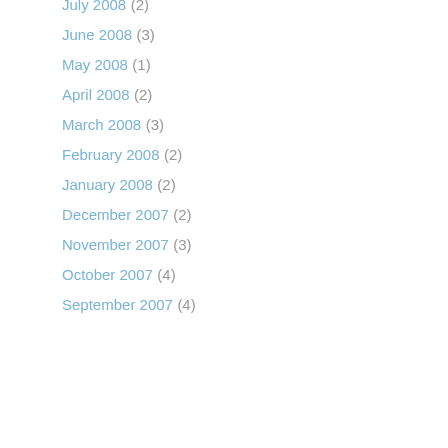July 2008 (2)
June 2008 (3)
May 2008 (1)
April 2008 (2)
March 2008 (3)
February 2008 (2)
January 2008 (2)
December 2007 (2)
November 2007 (3)
October 2007 (4)
September 2007 (4)